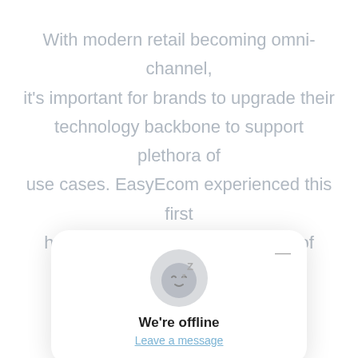With modern retail becoming omni-channel, it's important for brands to upgrade their technology backbone to support plethora of use cases. EasyEcom experienced this first hand by working with thousands of retailers across the world.
[Figure (illustration): A blue circular refresh/sync icon]
Automate … and
No more m… ock channel w… ur business for omni-channel model including
[Figure (screenshot): A popup widget showing a sleeping face emoji with a Z, titled 'We're offline' with a 'Leave a message' link and a minimize button]